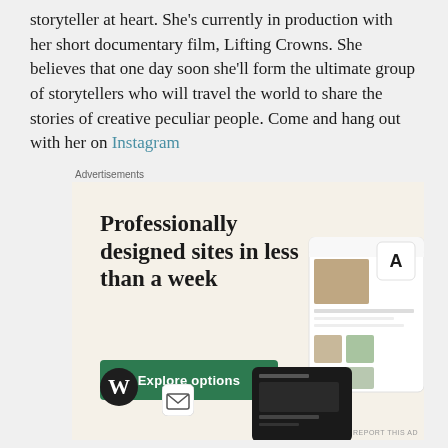storyteller at heart. She's currently in production with her short documentary film, Lifting Crowns. She believes that one day soon she'll form the ultimate group of storytellers who will travel the world to share the stories of creative peculiar people. Come and hang out with her on Instagram
Advertisements
[Figure (illustration): WordPress advertisement banner with beige background. Headline reads 'Professionally designed sites in less than a week' with a green 'Explore options' button. Shows mock website screenshots on the right side and a WordPress logo bottom left.]